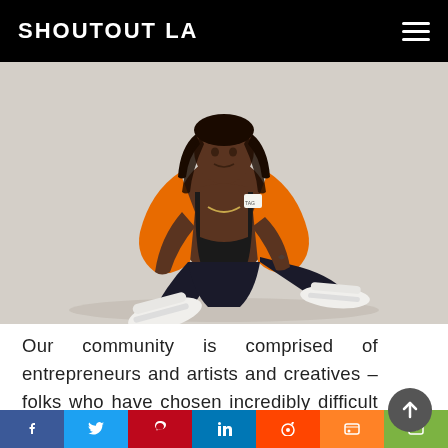SHOUTOUT LA
[Figure (photo): A young Black man with long braids sits on a light grey background. He wears an open orange puffer jacket with no shirt underneath, dark/black wide-leg pants, and white high-top sneakers. He is seated casually with legs spread out in front of him.]
Our community is comprised of entrepreneurs and artists and creatives – folks who have chosen incredibly difficult professional paths that often don’t offer any safety nets or guarantees. Nonetheless, we regularly hear that
f  Twitter  p  in  Reddit  mix  mail